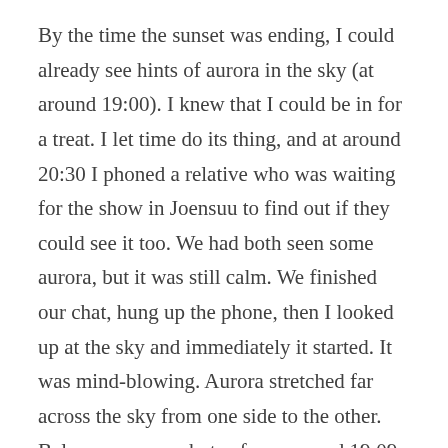By the time the sunset was ending, I could already see hints of aurora in the sky (at around 19:00). I knew that I could be in for a treat. I let time do its thing, and at around 20:30 I phoned a relative who was waiting for the show in Joensuu to find out if they could see it too. We had both seen some aurora, but it was still calm. We finished our chat, hung up the phone, then I looked up at the sky and immediately it started. It was mind-blowing. Aurora stretched far across the sky from one side to the other. Below are some photos from around 19:09 to 20:35.